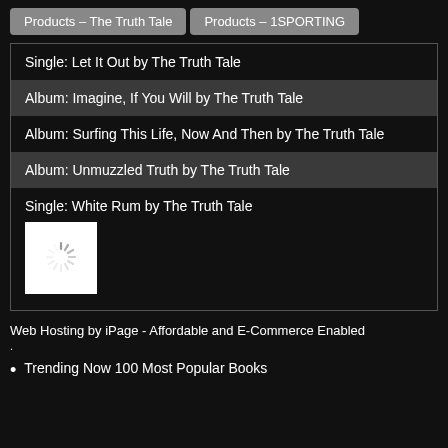Products – The Truth Tale | Products – 1SPORTING
Single: Let It Out by The Truth Tale
Album: Imagine, If You Will by The Truth Tale
Album: Surfing This Life, Now And Then by The Truth Tale
Album: Unmuzzled Truth by The Truth Tale
Single: White Rum by The Truth Tale
[Figure (illustration): Loading spinner icon (white radial lines on white square background)]
Web Hosting by iPage - Affordable and E-Commerce Enabled
Trending Now 100 Most Popular Books